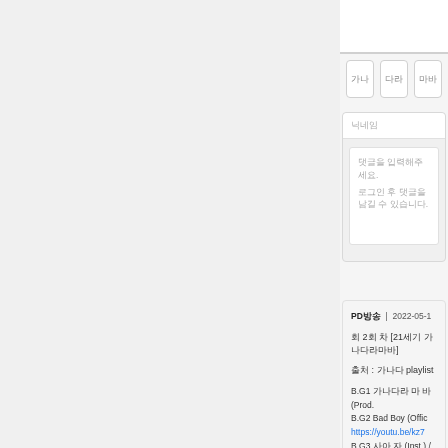가나다 | 라마바 | 사아자
닉네임
댓글을 입력해주세요.
로그인 후 댓글을 남길 수 있습니다.
PD방송 | 2022-05-1
회 2회 차 [21세기 가나다라마바]
출처 : 가나다 playlist
B.G1 가나다라 마 바 (Prod.
B.G2 Bad Boy (Offic
https://youtu.be/kz7
B.G3 사아 자 (Inst.) / 차